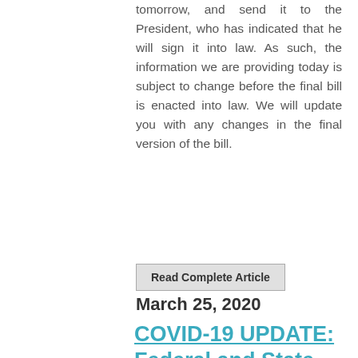tomorrow, and send it to the President, who has indicated that he will sign it into law. As such, the information we are providing today is subject to change before the final bill is enacted into law. We will update you with any changes in the final version of the bill.
Read Complete Article
March 25, 2020
COVID-19 UPDATE: Federal and State Economic Relief Programs
PHASE III ECONOMIC RELIEF PACKAGE